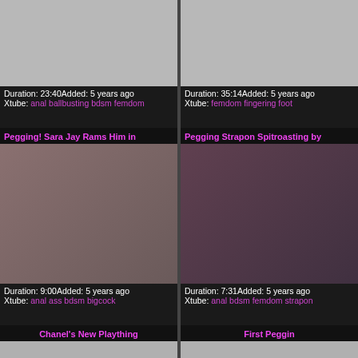[Figure (photo): Grey thumbnail placeholder top left]
Duration: 23:40Added: 5 years ago
Xtube: anal ballbusting bdsm femdom
[Figure (photo): Grey thumbnail placeholder top right]
Duration: 35:14Added: 5 years ago
Xtube: femdom fingering foot
Pegging! Sara Jay Rams Him in
[Figure (photo): Video thumbnail showing pegging scene]
Duration: 9:00Added: 5 years ago
Xtube: anal ass bdsm bigcock
Pegging Strapon Spitroasting by
[Figure (photo): Video thumbnail showing strapon spitroasting scene]
Duration: 7:31Added: 5 years ago
Xtube: anal bdsm femdom strapon
Chanel's New Plaything
[Figure (photo): Grey thumbnail placeholder bottom left]
First Peggin
[Figure (photo): Grey thumbnail placeholder bottom right]